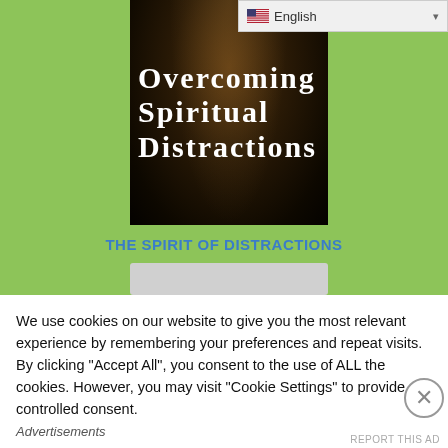[Figure (illustration): Book cover image with dark wood/bokeh background and white serif text reading 'Overcoming Spiritual Distractions']
THE SPIRIT OF DISTRACTIONS
[Figure (other): Gray advertisement placeholder box]
We use cookies on our website to give you the most relevant experience by remembering your preferences and repeat visits. By clicking “Accept All”, you consent to the use of ALL the cookies. However, you may visit "Cookie Settings" to provide a controlled consent.
Advertisements
REPORT THIS AD